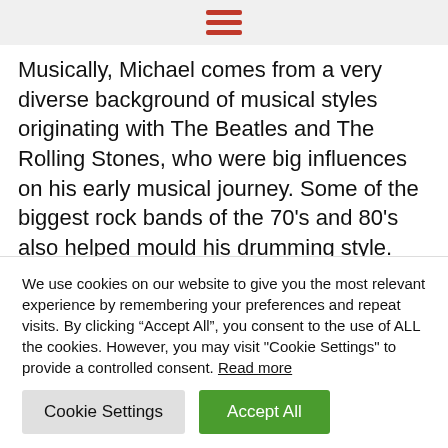[hamburger menu icon]
Musically, Michael comes from a very diverse background of musical styles originating with The Beatles and The Rolling Stones, who were big influences on his early musical journey. Some of the biggest rock bands of the 70’s and 80’s also helped mould his drumming style.

However, his biggest influences came from the great story telling songwriters and bands from the USA. “I don’t feel comfortable writing songs about stuff and life issues that I
We use cookies on our website to give you the most relevant experience by remembering your preferences and repeat visits. By clicking “Accept All”, you consent to the use of ALL the cookies. However, you may visit "Cookie Settings" to provide a controlled consent. Read more